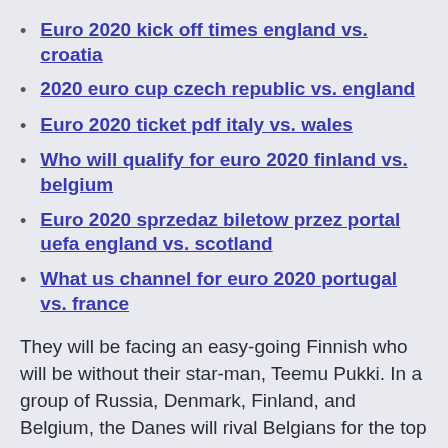Euro 2020 kick off times england vs. croatia
2020 euro cup czech republic vs. england
Euro 2020 ticket pdf italy vs. wales
Who will qualify for euro 2020 finland vs. belgium
Euro 2020 sprzedaz biletow przez portal uefa england vs. scotland
What us channel for euro 2020 portugal vs. france
They will be facing an easy-going Finnish who will be without their star-man, Teemu Pukki. In a group of Russia, Denmark, Finland, and Belgium, the Danes will rival Belgians for the top spot in Group F. Jun 13, 2021 · UCL 2021 - Final : Man City vs Chelsea Euro 2020 - Group Stage : Denmark vs Finland Euro 2020 - Group Stage : Turkey vs Italy LaLiga 2020-2021 : Barcelona vs